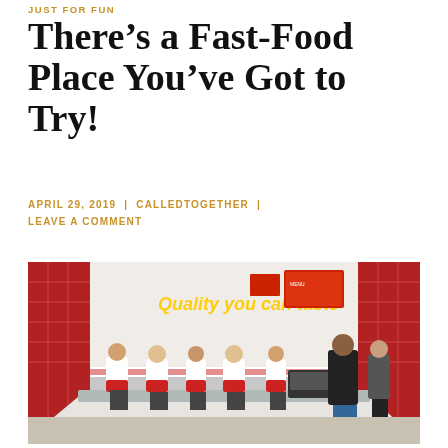JUST FOR FUN
There’s a Fast-Food Place You’ve Got to Try!
APRIL 29, 2019 | CALLEDTOGETHER | LEAVE A COMMENT
[Figure (photo): Interior of an In-N-Out Burger restaurant showing the counter area with staff in white and red uniforms, red tile walls, neon sign, and a customer at the register.]